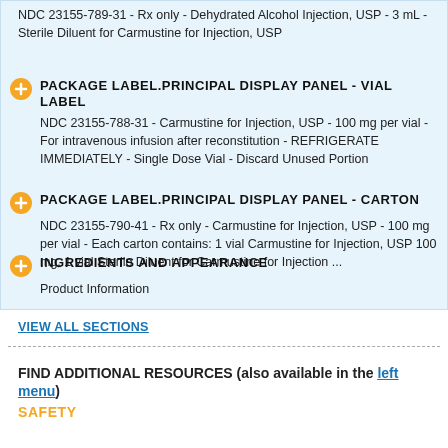NDC 23155-789-31 - Rx only - Dehydrated Alcohol Injection, USP - 3 mL - Sterile Diluent for Carmustine for Injection, USP
PACKAGE LABEL.PRINCIPAL DISPLAY PANEL - VIAL LABEL
NDC 23155-788-31 - Carmustine for Injection, USP - 100 mg per vial - For intravenous infusion after reconstitution - REFRIGERATE IMMEDIATELY - Single Dose Vial - Discard Unused Portion
PACKAGE LABEL.PRINCIPAL DISPLAY PANEL - CARTON
NDC 23155-790-41 - Rx only - Carmustine for Injection, USP - 100 mg per vial - Each carton contains: 1 vial Carmustine for Injection, USP 100 mg, 1 vial Sterile Diluent for Carmustine for Injection ...
INGREDIENTS AND APPEARANCE
Product Information
VIEW ALL SECTIONS
FIND ADDITIONAL RESOURCES (also available in the left menu)
SAFETY